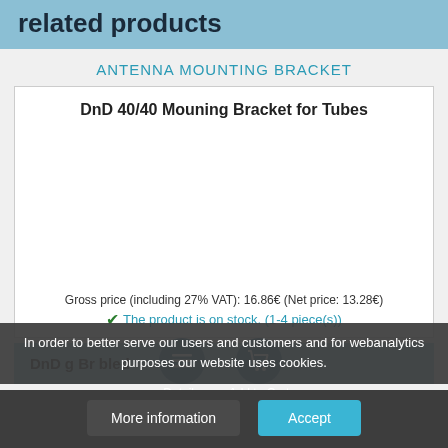related products
ANTENNA MOUNTING BRACKET
DnD 40/40 Mouning Bracket for Tubes
Gross price (including 27% VAT): 16.86€ (Net price: 13.28€)
The product is on stock. (1-4 piece(s))
In order to better serve our users and customers and for webanalytics purposes our website uses cookies.
DnD ... g Br ... bled